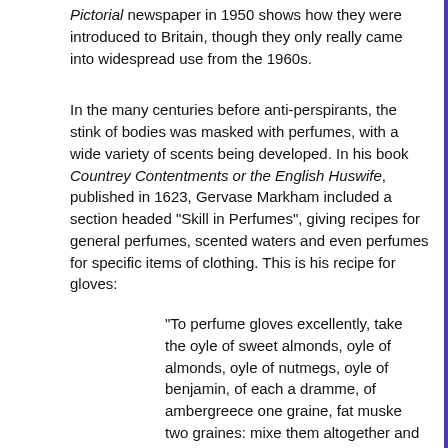Pictorial newspaper in 1950 shows how they were introduced to Britain, though they only really came into widespread use from the 1960s.
In the many centuries before anti-perspirants, the stink of bodies was masked with perfumes, with a wide variety of scents being developed. In his book Countrey Contentments or the English Huswife, published in 1623, Gervase Markham included a section headed “Skill in Perfumes”, giving recipes for general perfumes, scented waters and even perfumes for specific items of clothing. This is his recipe for gloves:
“To perfume gloves excellently, take the oyle of sweet almonds, oyle of almonds, oyle of nutmegs, oyle of benjamin, of each a dramme, of ambergreece one graine, fat muske two graines: mixe them altogether and grind them upon a painters stone, and then annoint the gloves therewith: yet before you annoint them let them be dampishly moistned with damask rose water.”
Perfumes were largely made at home until well into the 19th century, the most popular being rose water and lavender water. There were small variations in the recipe for lavender water,